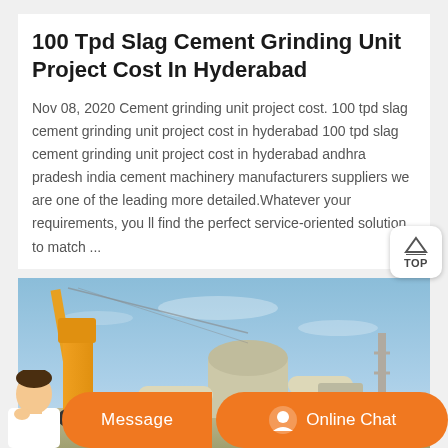100 Tpd Slag Cement Grinding Unit Project Cost In Hyderabad
Nov 08, 2020 Cement grinding unit project cost. 100 tpd slag cement grinding unit project cost in hyderabad 100 tpd slag cement grinding unit project cost in hyderabad andhra pradesh india cement machinery manufacturers suppliers we are one of the leading more detailed.Whatever your requirements, you ll find the perfect service-oriented solution to match ...
[Figure (photo): Industrial cement grinding equipment including a yellow crane and cylindrical machinery structures against a blue sky, with ground-level industrial facilities visible.]